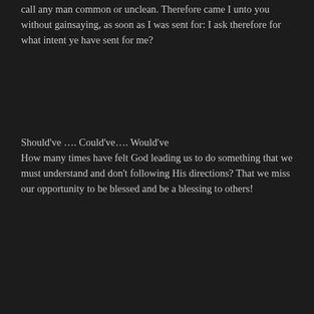call any man common or unclean. Therefore came I unto you without gainsaying, as soon as I was sent for: I ask therefore for what intent ye have sent for me?
Should've …. Could've…. Would've
How many times have felt God leading us to do something that we must understand and don't following His directions? That we miss our opportunity to be blessed and be a blessing to others!
#liveJesus #giveJesus
Reply
keshawnbaines  May 24, 2020 at 5:22 pm
Wherein were all manner of fourfooted beasts of the earth, and wild beasts, and creeping things, and